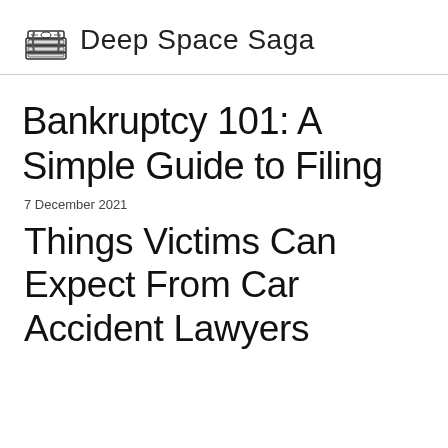Deep Space Saga
Bankruptcy 101: A Simple Guide to Filing
7 December 2021
Things Victims Can Expect From Car Accident Lawyers